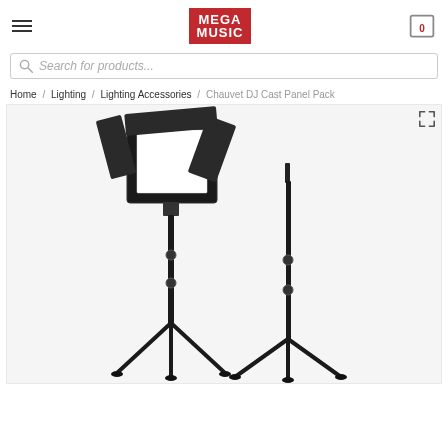Mega Music — navigation header with hamburger menu and cart
Search for products...
Home / Lighting / Lighting Accessories / Chauvet DJ Cast Panel Pack
[Figure (photo): Chauvet DJ Cast Panel Pack product photo: a square LED light panel with barn doors on a tripod stand, plus an empty stand beside it, on white background]